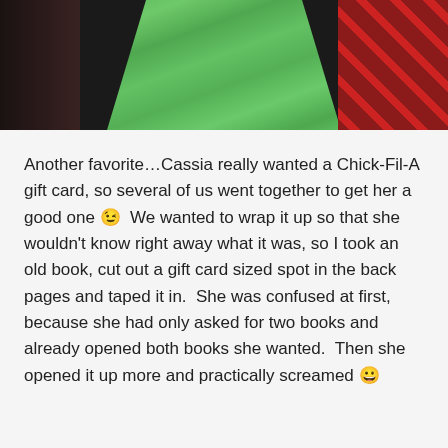[Figure (photo): Partial photo showing a green patterned dress/garment in the center, dark background on the left, and red plaid fabric on the right. Only the lower portion of the image is visible.]
Another favorite…Cassia really wanted a Chick-Fil-A gift card, so several of us went together to get her a good one 😉  We wanted to wrap it up so that she wouldn't know right away what it was, so I took an old book, cut out a gift card sized spot in the back pages and taped it in.  She was confused at first, because she had only asked for two books and already opened both books she wanted.  Then she opened it up more and practically screamed 😀